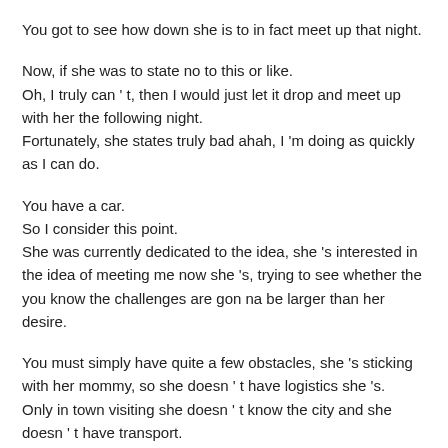You got to see how down she is to in fact meet up that night.
Now, if she was to state no to this or like.
Oh, I truly can ' t, then I would just let it drop and meet up with her the following night.
Fortunately, she states truly bad ahah, I 'm doing as quickly as I can do.
You have a car.
So I consider this point.
She was currently dedicated to the idea, she 's interested in the idea of meeting me now she 's, trying to see whether the you know the challenges are gon na be larger than her desire.
You must simply have quite a few obstacles, she 's sticking with her mommy, so she doesn ' t have logistics she 's.
Only in town visiting she doesn ' t know the city and she doesn ' t have transport.